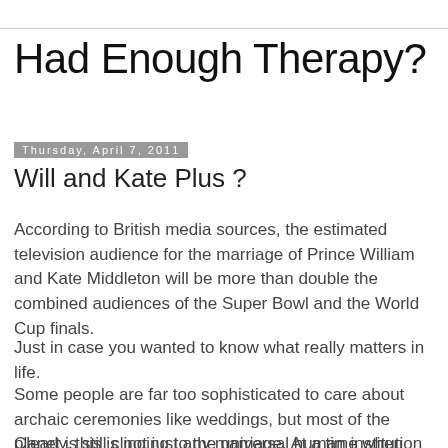Had Enough Therapy?
Thursday, April 7, 2011
Will and Kate Plus ?
According to British media sources, the estimated television audience for the marriage of Prince William and Kate Middleton will be more than double the combined audiences of the Super Bowl and the World Cup finals.
Just in case you wanted to know what really matters in life.
Some people are far too sophisticated to care about archaic ceremonies like weddings, but most of the planet is still clinging to the universal human institution of marriage.
Clearly, this is not just any marriage. At a time when Anglo-American culture dominates the world-- for how much longer, we don't know-- the British monarchy provides many people